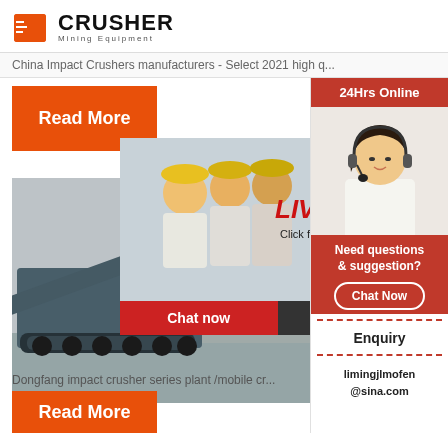[Figure (logo): Crusher Mining Equipment logo with red shopping bag icon and bold CRUSHER text]
China Impact Crushers manufacturers - Select 2021 high q...
Read More
[Figure (photo): Industrial mining/crushing equipment on construction site, large tracked vehicle]
[Figure (infographic): Live Chat overlay with workers in hard hats, red LIVE CHAT heading, Click for a Free Consultation text, Chat now and Chat later buttons]
China crush...
Dongfang impact crusher series plant /mobile cr...
Read More
[Figure (infographic): 24Hrs Online sidebar with customer service agent photo, Need questions & suggestion text, Chat Now button, Enquiry link, limingjlmofen@sina.com email]